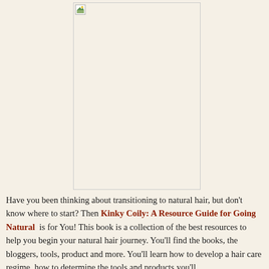[Figure (photo): A large image placeholder with a broken image icon in the top-left corner, displayed on a cream/beige background with a border.]
Have you been thinking about transitioning to natural hair, but don't know where to start? Then Kinky Coily: A Resource Guide for Going Natural is for You! This book is a collection of the best resources to help you begin your natural hair journey. You'll find the books, the bloggers, tools, product and more. You'll learn how to develop a hair care regime, how to determine the tools and products you'll